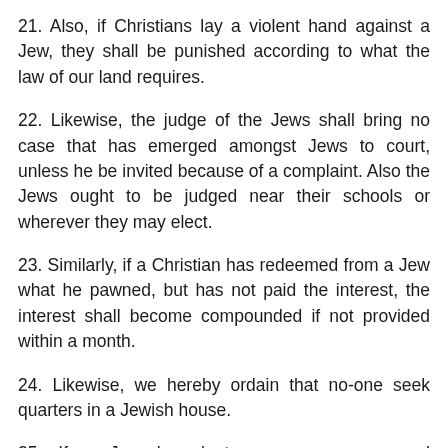21. Also, if Christians lay a violent hand against a Jew, they shall be punished according to what the law of our land requires.
22. Likewise, the judge of the Jews shall bring no case that has emerged amongst Jews to court, unless he be invited because of a complaint. Also the Jews ought to be judged near their schools or wherever they may elect.
23. Similarly, if a Christian has redeemed from a Jew what he pawned, but has not paid the interest, the interest shall become compounded if not provided within a month.
24. Likewise, we hereby ordain that no-one seek quarters in a Jewish house.
25. If a Jew has lent money upon pawned possessions or a [hypothecation] letter for goods immobile, and he to whom the things belong offers proof of whose things